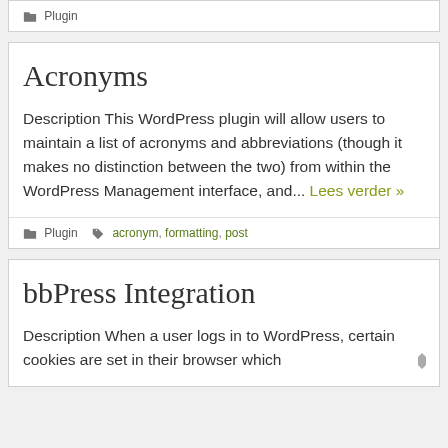Plugin
Acronyms
Description This WordPress plugin will allow users to maintain a list of acronyms and abbreviations (though it makes no distinction between the two) from within the WordPress Management interface, and... Lees verder »
Plugin   acronym, formatting, post
bbPress Integration
Description When a user logs in to WordPress, certain cookies are set in their browser which